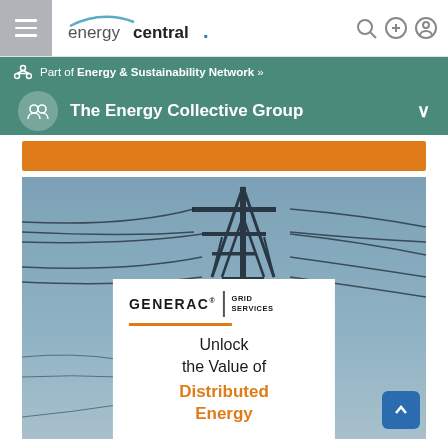energycentral.
Part of Energy & Sustainability Network »
The Energy Collective Group
[Figure (screenshot): Energy transmission tower/pylon against a blue-grey sky with power lines, with a white promotional card overlay featuring Generac Grid Services branding and text 'Unlock the Value of Distributed Energy']